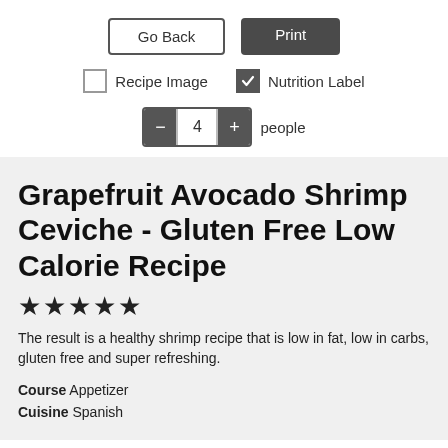[Figure (screenshot): UI controls: Go Back button (outlined), Print button (dark filled), Recipe Image checkbox (unchecked), Nutrition Label checkbox (checked), and a stepper control showing 4 people]
Grapefruit Avocado Shrimp Ceviche - Gluten Free Low Calorie Recipe
★★★★★
The result is a healthy shrimp recipe that is low in fat, low in carbs, gluten free and super refreshing.
Course  Appetizer
Cuisine  Spanish